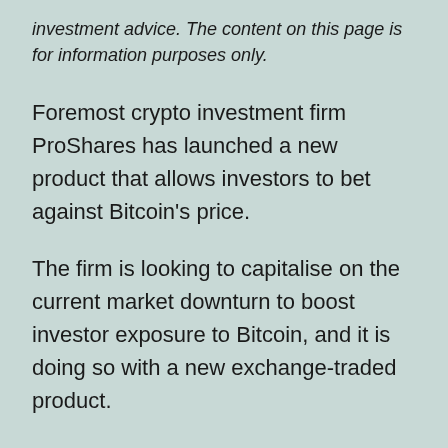investment advice. The content on this page is for information purposes only.
Foremost crypto investment firm ProShares has launched a new product that allows investors to bet against Bitcoin’s price.
The firm is looking to capitalise on the current market downturn to boost investor exposure to Bitcoin, and it is doing so with a new exchange-traded product.
Capitalising on the Downturn